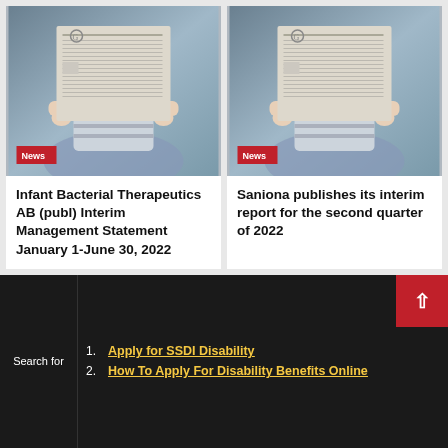[Figure (photo): Person holding newspaper, with red 'News' badge overlay — left card]
Infant Bacterial Therapeutics AB (publ) Interim Management Statement January 1-June 30, 2022
[Figure (photo): Person holding newspaper, with red 'News' badge overlay — right card]
Saniona publishes its interim report for the second quarter of 2022
Search for
1. Apply for SSDI Disability
2. How To Apply For Disability Benefits Online